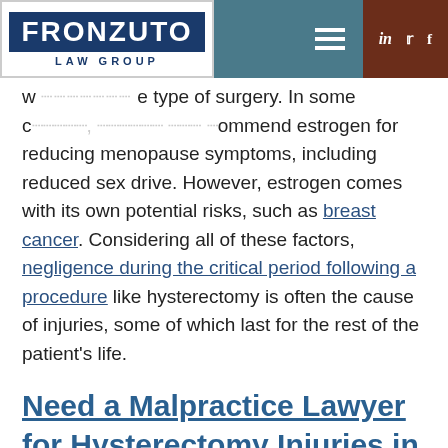Fronzuto Law Group
w… e type of surgery. In some cases, a doctor may recommend estrogen for reducing menopause symptoms, including reduced sex drive. However, estrogen comes with its own potential risks, such as breast cancer. Considering all of these factors, negligence during the critical period following a procedure like hysterectomy is often the cause of injuries, some of which last for the rest of the patient's life.
Need a Malpractice Lawyer for Hysterectomy Injuries in NJ?
If your hysterectomy resulted in the early onset of menopause, painful intercourse, pain at the incision